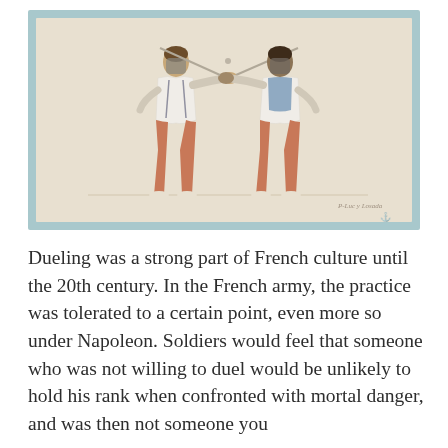[Figure (illustration): A watercolor illustration showing two fencers in dueling stance, each wearing protective masks and holding crossed swords/foils, dressed in white shirts and reddish-brown trousers with white shoes. The image has a light blue border frame on a pale background.]
Dueling was a strong part of French culture until the 20th century. In the French army, the practice was tolerated to a certain point, even more so under Napoleon. Soldiers would feel that someone who was not willing to duel would be unlikely to hold his rank when confronted with mortal danger, and was then not someone you